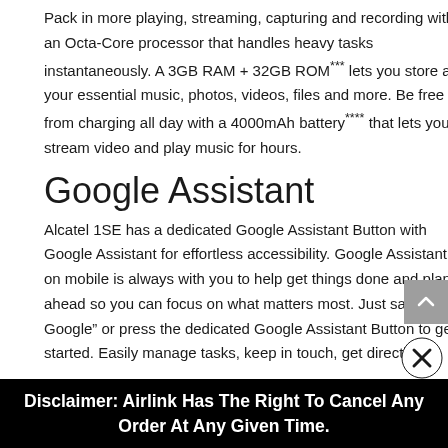Pack in more playing, streaming, capturing and recording with an Octa-Core processor that handles heavy tasks instantaneously. A 3GB RAM + 32GB ROM*** lets you store all your essential music, photos, videos, files and more. Be free from charging all day with a 4000mAh battery**** that lets you stream video and play music for hours.
Google Assistant
Alcatel 1SE has a dedicated Google Assistant Button with Google Assistant for effortless accessibility. Google Assistant on mobile is always with you to help get things done and plan ahead so you can focus on what matters most. Just say “Ok Google” or press the dedicated Google Assistant Button to get started. Easily manage tasks, keep in touch, get directions
Disclaimer: Airlink Has The Right To Cancel Any Order At Any Given Time.